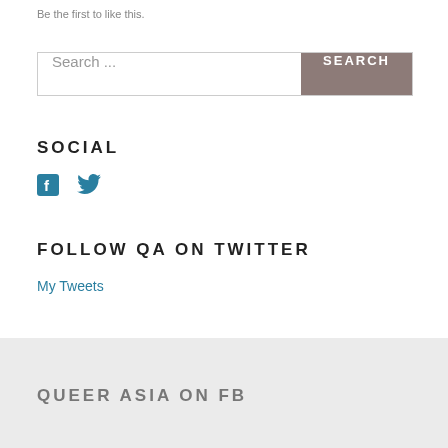Be the first to like this.
Search ...
SOCIAL
[Figure (other): Facebook and Twitter social icons in teal/blue]
FOLLOW QA ON TWITTER
My Tweets
QUEER ASIA ON FB